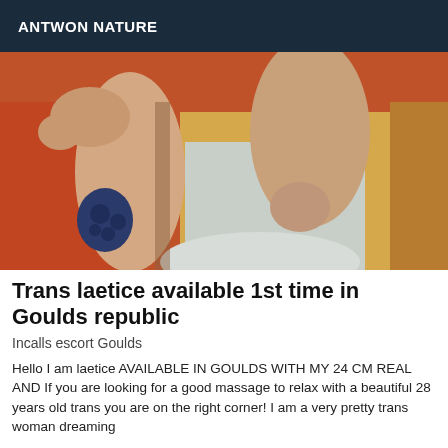ANTWON NATURE
[Figure (photo): Photo showing legs and feet of a person, one leg with a floral tattoo on the arm/leg area, background includes orange and wooden elements]
Trans laetice available 1st time in Goulds republic
Incalls escort Goulds
Hello I am laetice AVAILABLE IN GOULDS WITH MY 24 CM REAL AND If you are looking for a good massage to relax with a beautiful 28 years old trans you are on the right corner! I am a very pretty trans woman dreaming